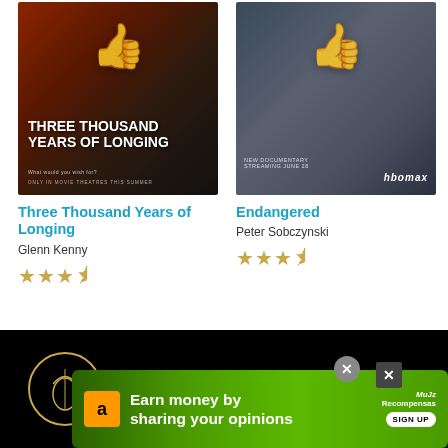[Figure (photo): Movie poster for Three Thousand Years of Longing with thumbs up icon overlay]
Three Thousand Years of Longing
Glenn Kenny
★★★½
[Figure (photo): Movie poster for Endangered (HBO Max documentary) with thumbs up icon overlay]
Endangered
Peter Sobczynski
★★★½
[Figure (infographic): Black banner with circular logo and text: The best movie reviews, in your inbox]
[Figure (screenshot): Green advertisement bar: Earn money by sharing your opinions - Sign Up (Amazon/MuJz Recompensas)]